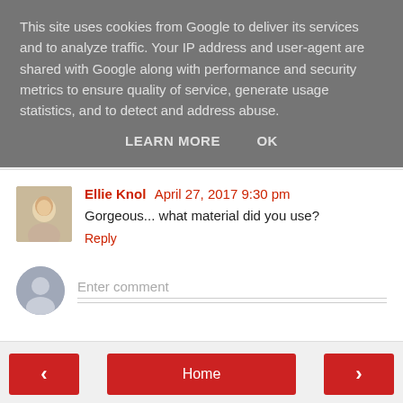This site uses cookies from Google to deliver its services and to analyze traffic. Your IP address and user-agent are shared with Google along with performance and security metrics to ensure quality of service, generate usage statistics, and to detect and address abuse.
LEARN MORE   OK
Ellie Knol  April 27, 2017 9:30 pm
Gorgeous... what material did you use?
Reply
Enter comment
‹
Home
›